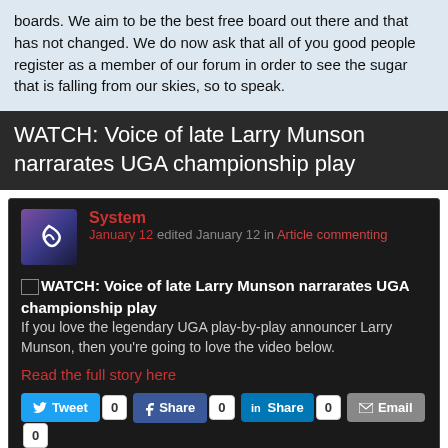boards. We aim to be the best free board out there and that has not changed. We do now ask that all of you good people register as a member of our forum in order to see the sugar that is falling from our skies, so to speak.
WATCH: Voice of late Larry Munson narrarates UGA championship play
System
January 12 edited January 12 in Article commenting
WATCH: Voice of late Larry Munson narrarates UGA championship play
If you love the legendary UGA play-by-play announcer Larry Munson, then you're going to love the video below.
Read the full story here
[Figure (screenshot): Social sharing buttons: Tweet 0, Share 0, Share 0, Email 0, and a Twitter icon]